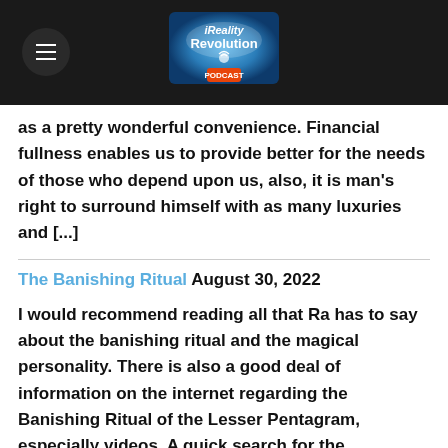Reality Revolution Podcast
as a pretty wonderful convenience. Financial fullness enables us to provide better for the needs of those who depend upon us, also, it is man's right to surround himself with as many luxuries and [...]
The Banishing Ritual August 30, 2022
I would recommend reading all that Ra has to say about the banishing ritual and the magical personality. There is also a good deal of information on the internet regarding the Banishing Ritual of the Lesser Pentagram, especially videos. A quick search for the Banishing Ritual of the Lesser Pentagram online will reveal that it is [...]
Neville Goddard - That Which Already Has Been
August 29, 2022